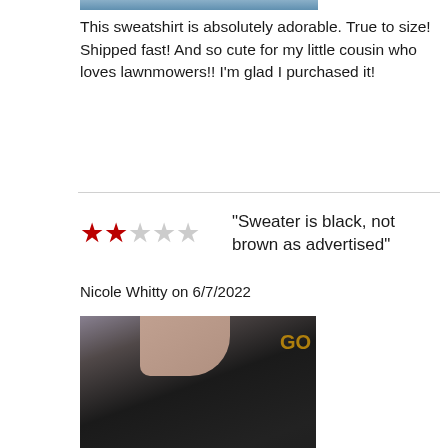[Figure (photo): Top portion of a child wearing a sweatshirt, partially visible at top of page]
This sweatshirt is absolutely adorable. True to size! Shipped fast! And so cute for my little cousin who loves lawnmowers!! I'm glad I purchased it!
"Sweater is black, not brown as advertised"
Nicole Whitty on 6/7/2022
[Figure (photo): Child wearing a black sweater with yellow text, showing Padres colors. The sweater appears black rather than the advertised brown color.]
First off, I had a great experience with the shop, however was bummed when the sweater arrived and it was not brown as advertised. Photo shows the color difference between the Padre brown color (right), and the black color of the sweater that was supposed to be brown (left). Sweater is still cute and will be worn, was